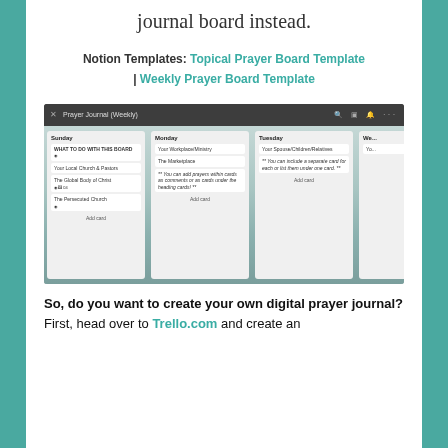journal board instead.
Notion Templates: Topical Prayer Board Template | Weekly Prayer Board Template
[Figure (screenshot): Screenshot of a Trello board called 'Prayer Journal (Weekly)' showing columns for Sunday, Monday, Tuesday and a partial fourth column, each with prayer topic cards.]
So, do you want to create your own digital prayer journal? First, head over to Trello.com and create an